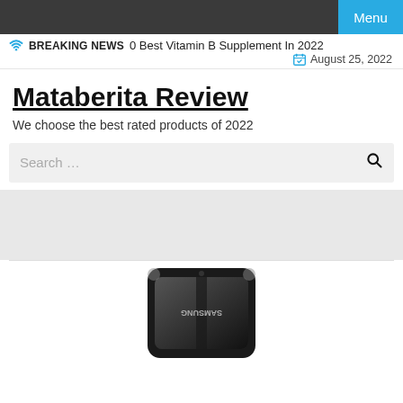Menu
BREAKING NEWS  0 Best Vitamin B Supplement In 2022  August 25, 2022
Mataberita Review
We choose the best rated products of 2022
Search …
[Figure (photo): Samsung smartphone shown upside down at the bottom of the page, partially cropped]